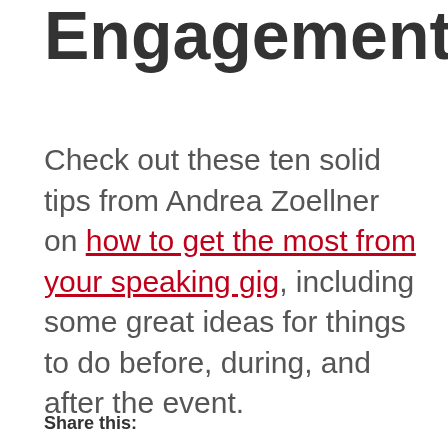Engagement
Check out these ten solid tips from Andrea Zoellner on how to get the most from your speaking gig, including some great ideas for things to do before, during, and after the event.
Share this: